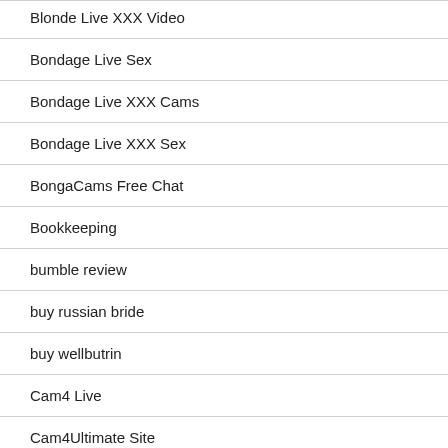Blonde Live XXX Video
Bondage Live Sex
Bondage Live XXX Cams
Bondage Live XXX Sex
BongaCams Free Chat
Bookkeeping
bumble review
buy russian bride
buy wellbutrin
Cam4 Live
Cam4Ultimate Site
Cam Contacts Real S…